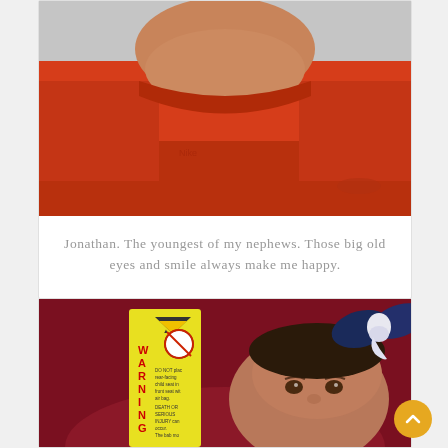[Figure (photo): Close-up photo of a young boy (Jonathan) wearing a red/orange shirt, cropped to show chin and chest area. Gray background.]
Jonathan. The youngest of my nephews. Those big old eyes and smile always make me happy.
[Figure (photo): Photo of a newborn baby girl in a car seat with a large navy and white bow headband. A yellow WARNING label is visible on the car seat. Baby has dark hair and is looking slightly upward. There is a gold scroll-to-top button in the lower right.]